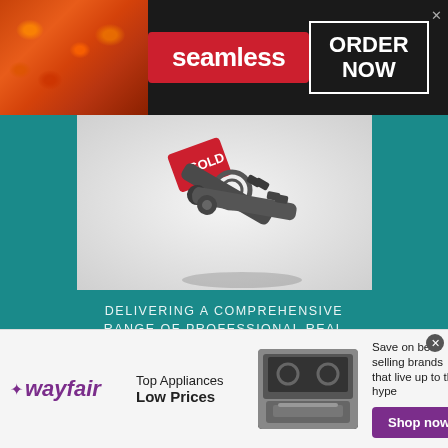[Figure (screenshot): Seamless food delivery advertisement banner at top with pizza image on left, Seamless red logo in center, and ORDER NOW box on right against dark background]
[Figure (photo): Photo of house keys with red sold tag, two metal keys on light background, part of Crye-Leike Brown Realty Elite advertisement]
DELIVERING A COMPREHENSIVE RANGE OF PROFESSIONAL REAL ESTATE SERVICES
LET CRYE-LEIKE BROWN REALTY ELITE NEGOTIATE THE BEST DEAL FOR YOU
931.837.SOLD (7653)
WWW.CLBROWNELITE.COM
[Figure (screenshot): Wayfair advertisement banner at bottom showing wayfair logo, Top Appliances Low Prices text, stove image, and Shop now purple button]